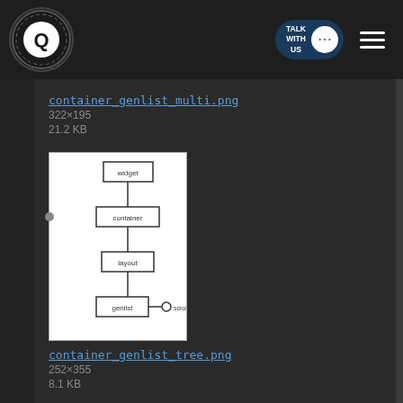container_genlist_multi.png
322×195
21.2 KB
[Figure (schematic): UML-style diagram showing widget hierarchy: widget -> container -> layout -> genlist connected to scrollable]
container_genlist_tree.png
252×355
8.1 KB
[Figure (screenshot): Screenshot of a tree mode genlist UI showing hierarchical list items]
container_genlist_treemode.png
322×320